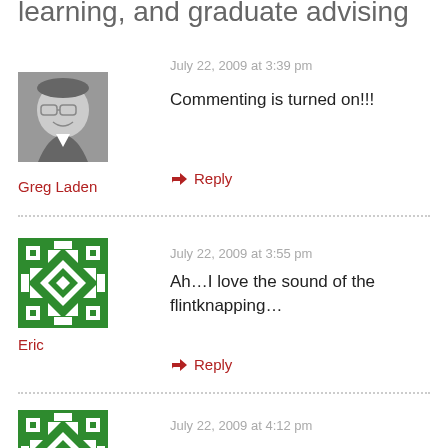learning, and graduate advising
[Figure (photo): Black and white headshot of a man wearing glasses and a suit, smiling]
July 22, 2009 at 3:39 pm
Commenting is turned on!!!
Greg Laden
↳ Reply
[Figure (illustration): Green geometric quilt-pattern avatar icon]
July 22, 2009 at 3:55 pm
Ah…I love the sound of the flintknapping…
Eric
↳ Reply
[Figure (illustration): Green geometric quilt-pattern avatar icon (partial)]
July 22, 2009 at 4:12 pm